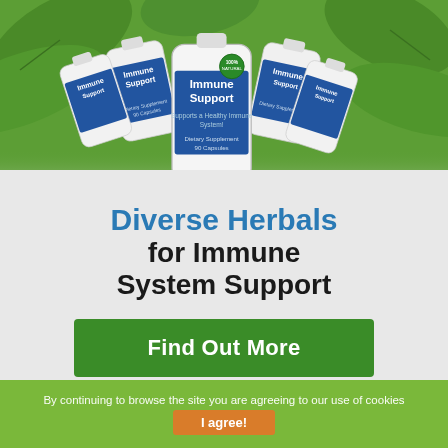[Figure (photo): Multiple white supplement bottles labeled 'Immune Support' arranged in a fan/group, with green leaf background. Bottles feature a blue human figure graphic and 'Natural' badge.]
Diverse Herbals for Immune System Support
Find Out More
By continuing to browse the site you are agreeing to our use of cookies
I agree!